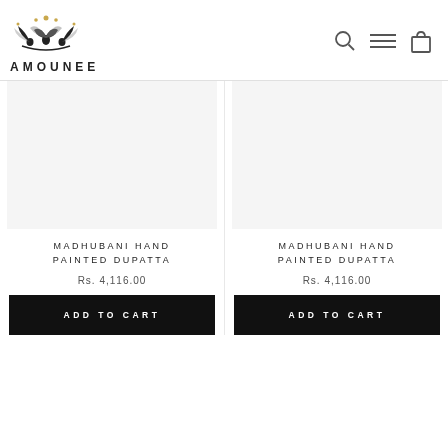[Figure (logo): Amounee brand logo with lotus/mandala design in black and gold, with text AMOUNEE below]
[Figure (other): Navigation icons: search magnifying glass, hamburger menu, and shopping bag]
MADHUBANI HAND PAINTED DUPATTA
Rs. 4,116.00
ADD TO CART
MADHUBANI HAND PAINTED DUPATTA
Rs. 4,116.00
ADD TO CART